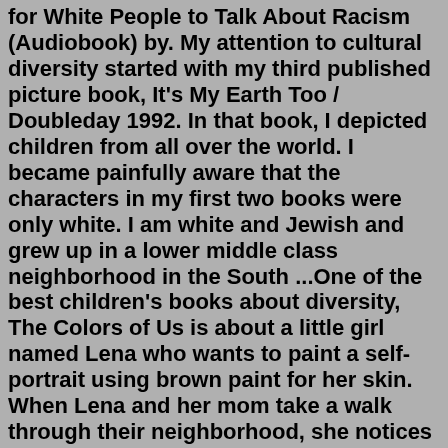for White People to Talk About Racism (Audiobook) by. My attention to cultural diversity started with my third published picture book, It's My Earth Too / Doubleday 1992. In that book, I depicted children from all over the world. I became painfully aware that the characters in my first two books were only white. I am white and Jewish and grew up in a lower middle class neighborhood in the South ...One of the best children's books about diversity, The Colors of Us is about a little girl named Lena who wants to paint a self-portrait using brown paint for her skin. When Lena and her mom take a walk through their neighborhood, she notices that there are many different shades of brown skin, and she begins to see her familiar world in a new way.Check out the top childrens books about diversity as suggested by our helpliners! " Chrysanthemum, by Kevin Henkes."—. Heather N. . "Queen Rania's The Sandwich Swap .". — Adriane G. " Each Kindness, by Jacqueline Woodson.". — Irene G. " Each Kindness is a wonderful book about the importance of